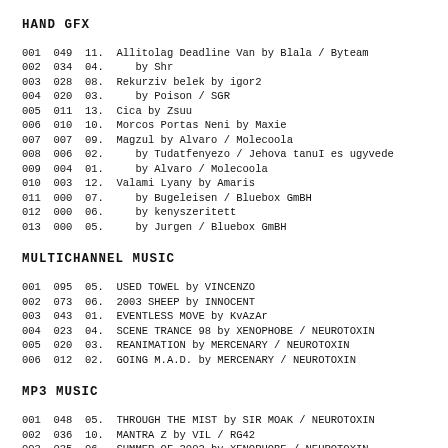HAND GFX
001  049  11.  Allitolag Deadline Van by Blala / Byteam
002  034  04.     by Shr
003  028  08.  Rekurziv belek by igor2
004  020  03.     by Poison / SGR
005  011  13.  Cica by Zsuu
006  010  10.  Morcos Portas Neni by Maxie
007  007  09.  Magzul by Alvaro / Molecoola
008  006  02.     by Tudatfenyezo / Jehova tanuI es ugyvede
009  004  01.     by Alvaro / Molecoola
010  003  12.  Valami Lyany by Amaris
011  000  07.     by Bugeleisen / Bluebox GmBH
012  000  06.     by kenyszeritett
013  000  05.     by Jurgen / Bluebox GmBH
MULTICHANNEL MUSIC
001  095  05.  USED TOWEL by VINCENZO
002  073  06.  2003 SHEEP by INNOCENT
003  043  01.  EVENTLESS MOVE by KvAzAr
004  023  04.  SCENE TRANCE 98 by XENOPHOBE / NEUROTOXIN
005  020  03.  REANIMATION by MERCENARY / NEUROTOXIN
006  012  02.  GOING M.A.D. by MERCENARY / NEUROTOXIN
MP3 MUSIC
001  048  05.  THROUGH THE MIST by SIR MOAK / NEUROTOXIN
002  036  10.  MANTRA Z by VIL / RG42
003  035  06.  SUMMER OF 2002 by XENOPHOBE / NEUROTOXIN
004  029  07.  SQUARE by TEO
005  027  04.  SPACE TRAIN by KvAzAr